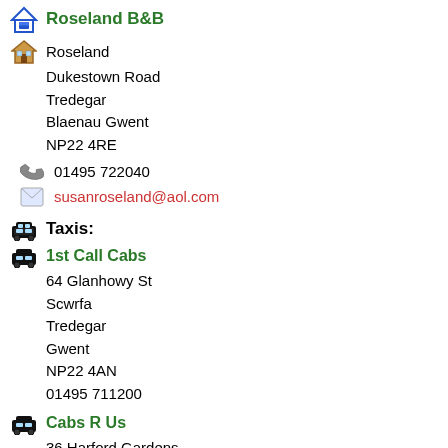Roseland B&B
Roseland
Dukestown Road
Tredegar
Blaenau Gwent
NP22 4RE
01495 722040
susanroseland@aol.com
Taxis:
1st Call Cabs
64 Glanhowy St
Scwrfa
Tredegar
Gwent
NP22 4AN
01495 711200
Cabs R Us
36 Harford Gardens
Sirhowy
Tredegar
Gwent
NP22 4QX
01495 718191
Clives Taxis
20 Chartist Way
Tredegar Gwent
NP22 4RR